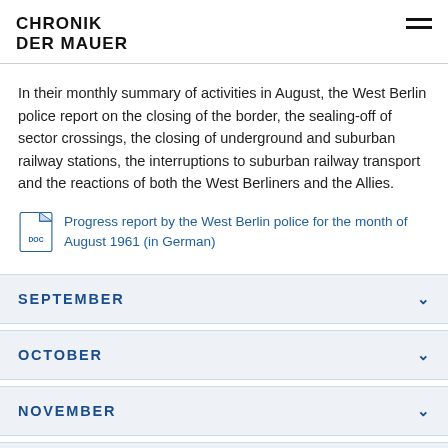CHRONIK DER MAUER
In their monthly summary of activities in August, the West Berlin police report on the closing of the border, the sealing-off of sector crossings, the closing of underground and suburban railway stations, the interruptions to suburban railway transport and the reactions of both the West Berliners and the Allies.
Progress report by the West Berlin police for the month of August 1961 (in German)
SEPTEMBER
OCTOBER
NOVEMBER
DECEMBER